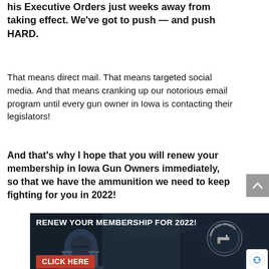his Executive Orders just weeks away from taking effect. We've got to push — and push HARD.
That means direct mail. That means targeted social media. And that means cranking up our notorious email program until every gun owner in Iowa is contacting their legislators!
And that's why I hope that you will renew your membership in Iowa Gun Owners immediately, so that we have the ammunition we need to keep fighting for you in 2022!
[Figure (illustration): Banner advertisement showing a government building background with text 'RENEW YOUR MEMBERSHIP FOR 2022!' in white bold uppercase at the top, an Iowa Gun Owners circular logo badge on the right, and a red 'CLICK HERE' button at the bottom left.]